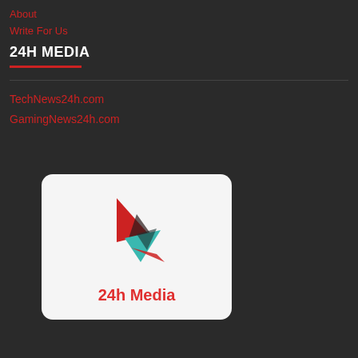About
Write For Us
24H MEDIA
TechNews24h.com
GamingNews24h.com
[Figure (logo): 24h Media logo: geometric paper-plane/arrow shape in red, dark, and teal colors above the text '24h Media' in red]